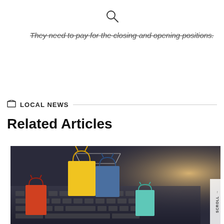[Figure (other): Search magnifying glass icon]
They need to pay for the closing and opening positions.
LOCAL NEWS
Related Articles
[Figure (photo): Shopping bags in a small cart on a laptop keyboard — online shopping concept image]
SCROLL